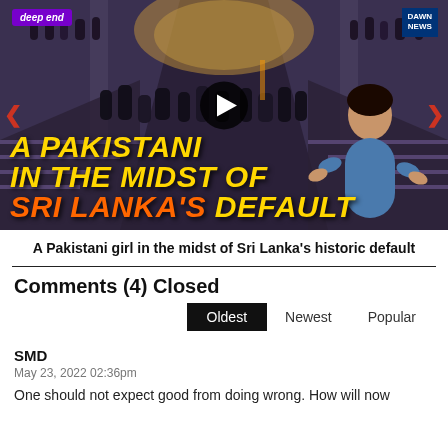[Figure (screenshot): Video thumbnail showing protesters inside a grand building with stairs. Text overlay reads 'A PAKISTANI IN THE MIDST OF SRI LANKA'S DEFAULT'. DeepEnd and DAWN NEWS logos visible. Female presenter on right side. Play button in center.]
A Pakistani girl in the midst of Sri Lanka's historic default
Comments (4) Closed
Oldest   Newest   Popular
SMD
May 23, 2022 02:36pm
One should not expect good from doing wrong. How will now